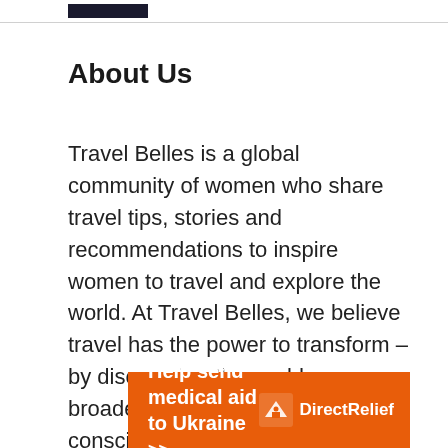About Us
Travel Belles is a global community of women who share travel tips, stories and recommendations to inspire women to travel and explore the world. At Travel Belles, we believe travel has the power to transform – by discovering the world we broaden our hearts, minds and consciousness. Come join us on our adventures.
[Figure (infographic): Orange advertisement banner: 'Help send medical aid to Ukraine >>' with DirectRelief logo on the right]